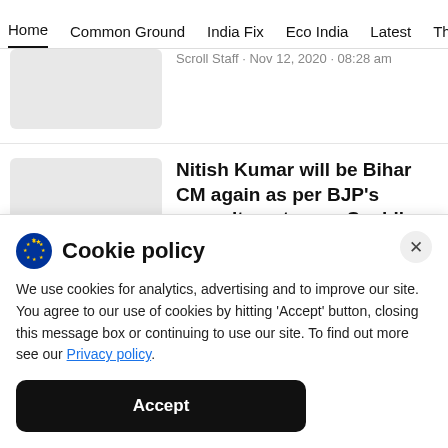Home  Common Ground  India Fix  Eco India  Latest  Th
Scroll Staff · Nov 12, 2020 · 08:28 am
Nitish Kumar will be Bihar CM again as per BJP's commitment, says Sushil Modi
Scroll Staff · Nov 11, 2020 · 03:06 pm
Cookie policy
We use cookies for analytics, advertising and to improve our site. You agree to our use of cookies by hitting 'Accept' button, closing this message box or continuing to use our site. To find out more see our Privacy policy.